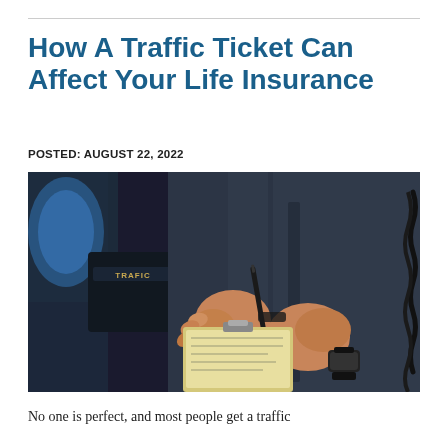How A Traffic Ticket Can Affect Your Life Insurance
POSTED: AUGUST 22, 2022
[Figure (photo): Close-up of a police officer's hands writing a traffic ticket on a clipboard with a pen, wearing a dark uniform and watch, with a vehicle visible in the background]
No one is perfect, and most people get a traffic